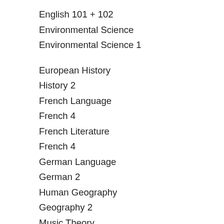English 101 + 102
Environmental Science
Environmental Science 1
European History
History 2
French Language
French 4
French Literature
French 4
German Language
German 2
Human Geography
Geography 2
Music Theory